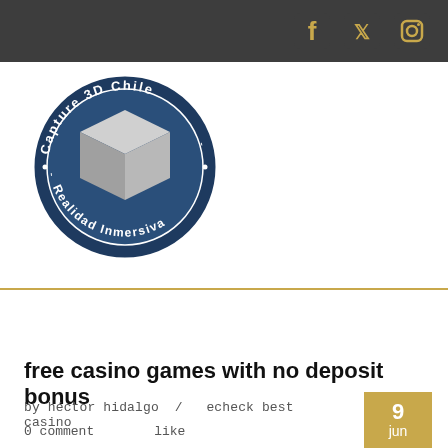Social media icons: Facebook, Twitter, Instagram
[Figure (logo): Circular logo for Capture 3D Chile - Realidad Inmersiva, featuring a 3D cube on a dark blue background with white text around the border]
free casino games with no deposit bonus
by héctor hidalgo /  echeck best casino
0 comment     like
9 jun